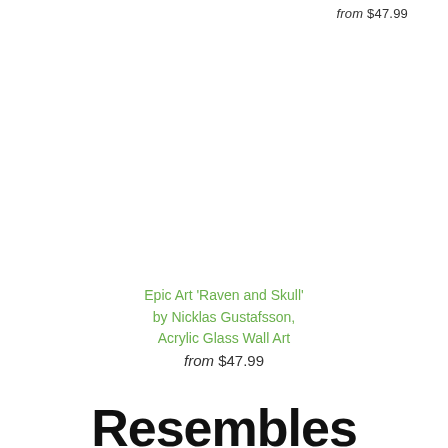from $47.99
Epic Art 'Raven and Skull' by Nicklas Gustafsson, Acrylic Glass Wall Art
from $47.99
Resembles